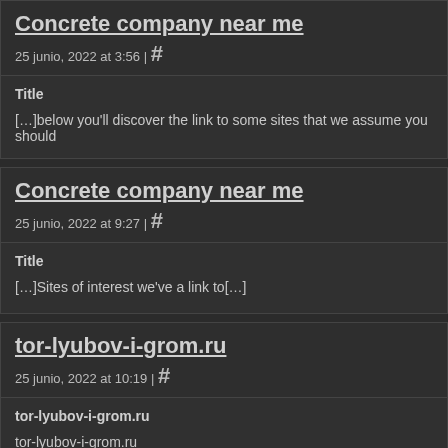Concrete company near me
25 junio, 2022 at 3:56 | #
Title
[…]below you'll discover the link to some sites that we assume you should
Concrete company near me
25 junio, 2022 at 9:27 | #
Title
[…]Sites of interest we've a link to[…]
tor-lyubov-i-grom.ru
25 junio, 2022 at 10:19 | #
tor-lyubov-i-grom.ru
tor-lyubov-i-grom.ru